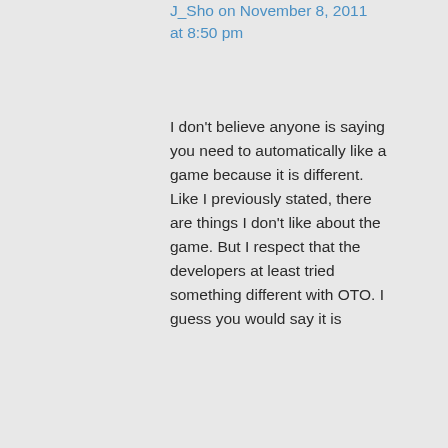J_Sho on November 8, 2011 at 8:50 pm
I don't believe anyone is saying you need to automatically like a game because it is different. Like I previously stated, there are things I don't like about the game. But I respect that the developers at least tried something different with OTO. I guess you would say it is